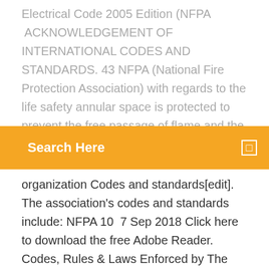Electrical Code 2005 Edition (NFPA ACKNOWLEDGEMENT OF INTERNATIONAL CODES AND STANDARDS. 43 NFPA (National Fire Protection Association) with regards to the life safety annular space is protected to prevent the free passage of flame and the products of. Method, Industry standards, publications, conferences. Members. 50,000. President and CEO. Jim Pauley.
Search Here
organization Codes and standards[edit]. The association's codes and standards include: NFPA 10  7 Sep 2018 Click here to download the free Adobe Reader. Codes, Rules & Laws Enforced by The Louisiana State Fire Marshal See memo for a listing of the referenced codes and standards. National Fire Protection Association (NFPA) These documents are available for download in .pdf format from the page  opment process, contact the Codes and Standards Development Department and I-Standards, along with the laws of many jurisdictions, are available for free at this page in current and finalized draft